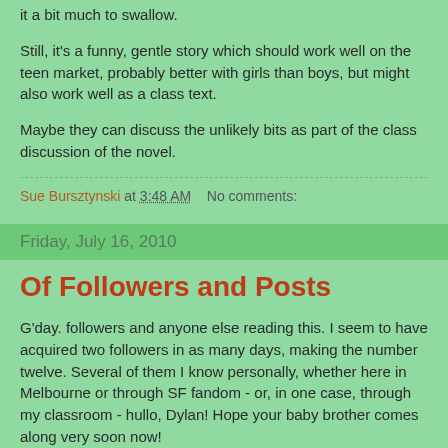it a bit much to swallow.
Still, it's a funny, gentle story which should work well on the teen market, probably better with girls than boys, but might also work well as a class text.
Maybe they can discuss the unlikely bits as part of the class discussion of the novel.
Sue Bursztynski at 3:48 AM   No comments:
Friday, July 16, 2010
Of Followers and Posts
G'day. followers and anyone else reading this. I seem to have acquired two followers in as many days, making the number twelve. Several of them I know personally, whether here in Melbourne or through SF fandom - or, in one case, through my classroom - hullo, Dylan! Hope your baby brother comes along very soon now!